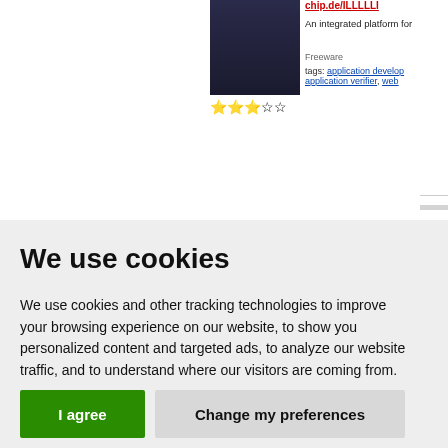[Figure (screenshot): Partial screenshot of a software listing website showing an application with a dark UI thumbnail, star ratings (3 out of 5), description text 'An integrated platform for', freeware label, tags for application developer, application verifier, web, and a partial next listing title 'MASS Gmail Account Cr']
We use cookies
We use cookies and other tracking technologies to improve your browsing experience on our website, to show you personalized content and targeted ads, to analyze our website traffic, and to understand where our visitors are coming from.
I agree
Change my preferences